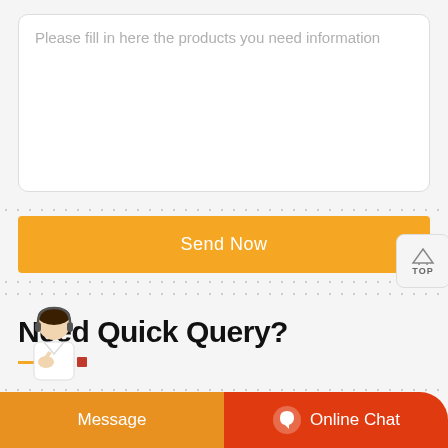Please fill in here the products you need information
Send Now
Need Quick Query?
Email Us:
Message
Online Chat